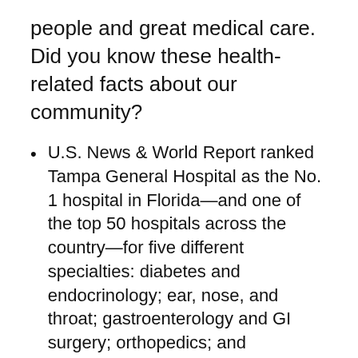people and great medical care. Did you know these health-related facts about our community?
U.S. News & World Report ranked Tampa General Hospital as the No. 1 hospital in Florida—and one of the top 50 hospitals across the country—for five different specialties: diabetes and endocrinology; ear, nose, and throat; gastroenterology and GI surgery; orthopedics; and rehabilitation.
Tampa Downtown Partnership offers free pilates, yoga, and Zumba classes at Curtis Hixon Waterfront Park each week.
In 2021, the American Academy for Park and